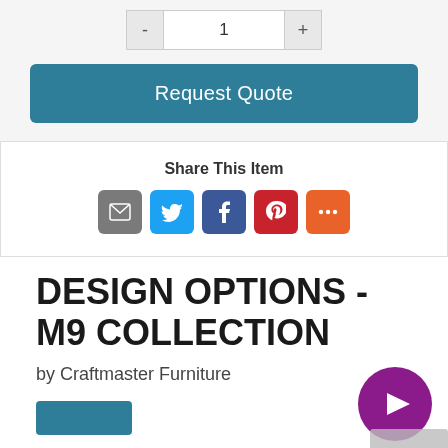[Figure (other): Quantity selector with minus button, input showing 1, and plus button]
[Figure (other): Request Quote teal button]
Share This Item
[Figure (other): Social share icons: email (gray), Twitter (blue), Facebook (dark blue), Pinterest (red), More (orange)]
DESIGN OPTIONS - M9 COLLECTION
by Craftmaster Furniture